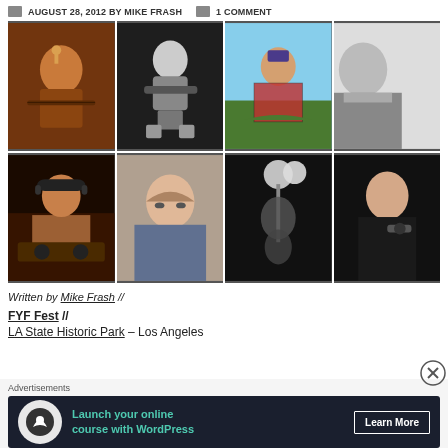AUGUST 28, 2012 BY MIKE FRASH // 1 COMMENT
[Figure (photo): 2x4 grid of music/concert photos showing musicians performing, a DJ, and singers]
Written by Mike Frash //
FYF Fest //
LA State Historic Park – Los Angeles
Advertisements
[Figure (infographic): Advertisement banner: Launch your online course with WordPress — Learn More]